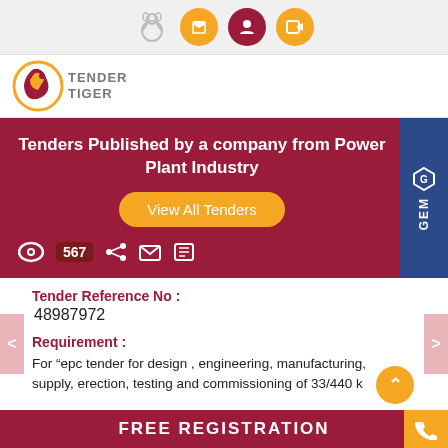Tender Tiger website header with icons: Ganesh, phone, user, login
[Figure (logo): Tender Tiger logo with tiger icon and text TENDER TIGER]
Tenders Published by a company from Power Plant Industry
View All Tenders
567 views, share, email, print icons
Tender Reference No : 48987972
Requirement : For "epc tender for design , engineering, manufacturing, supply, erection, testing and commissioning of 33/440 k
FREE REGISTRATION